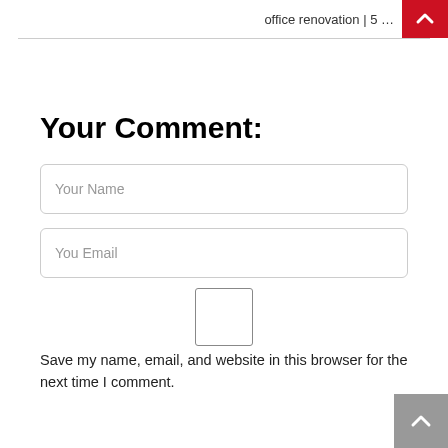office renovation | 5 …
Your Comment:
Your Name
You Email
Save my name, email, and website in this browser for the next time I comment.